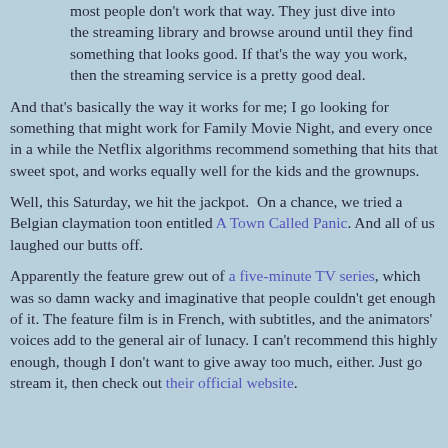most people don't work that way. They just dive into the streaming library and browse around until they find something that looks good. If that's the way you work, then the streaming service is a pretty good deal.
And that's basically the way it works for me; I go looking for something that might work for Family Movie Night, and every once in a while the Netflix algorithms recommend something that hits that sweet spot, and works equally well for the kids and the grownups.
Well, this Saturday, we hit the jackpot.  On a chance, we tried a Belgian claymation toon entitled A Town Called Panic. And all of us laughed our butts off.
Apparently the feature grew out of a five-minute TV series, which was so damn wacky and imaginative that people couldn't get enough of it. The feature film is in French, with subtitles, and the animators' voices add to the general air of lunacy. I can't recommend this highly enough, though I don't want to give away too much, either. Just go stream it, then check out their official website.